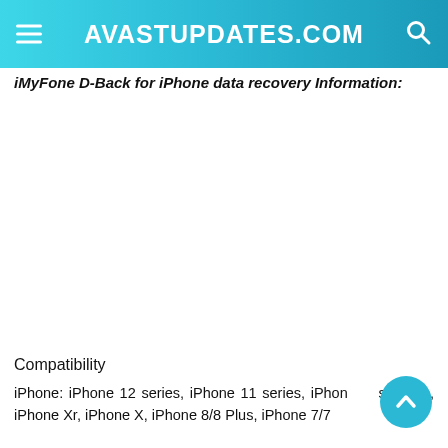AVASTUPDATES.COM
iMyFone D-Back for iPhone data recovery Information:
Compatibility
iPhone: iPhone 12 series, iPhone 11 series, iPhone Xs series, iPhone Xr, iPhone X, iPhone 8/8 Plus, iPhone 7/7